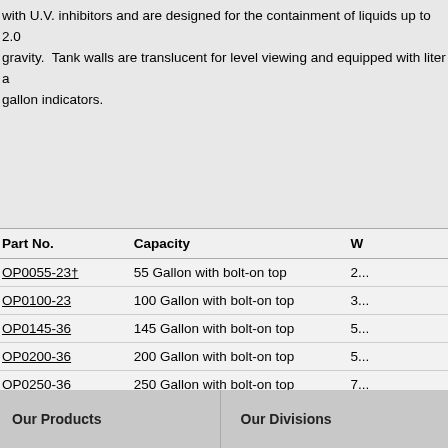with U.V. inhibitors and are designed for the containment of liquids up to 2.0 specific gravity. Tank walls are translucent for level viewing and equipped with liter and gallon indicators.
| Part No. | Capacity | W |
| --- | --- | --- |
| OP0055-23† | 55 Gallon with bolt-on top | 2... |
| OP0100-23 | 100 Gallon with bolt-on top | 3... |
| OP0145-36 | 145 Gallon with bolt-on top | 5... |
| OP0200-36 | 200 Gallon with bolt-on top | 5... |
| OP0250-36 | 250 Gallon with bolt-on top | 7... |
| OP0325-36 | 325 Gallon with bolt-on top | 9... |
| Part No. | Capacity | W |
Our Products    Our Divisions